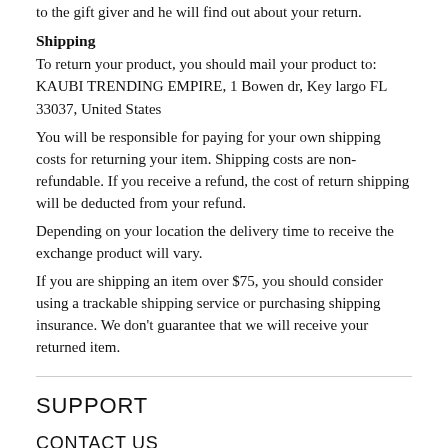to the gift giver and he will find out about your return.
Shipping
To return your product, you should mail your product to: KAUBI TRENDING EMPIRE, 1 Bowen dr, Key largo FL 33037, United States
You will be responsible for paying for your own shipping costs for returning your item. Shipping costs are non-refundable. If you receive a refund, the cost of return shipping will be deducted from your refund.
Depending on your location the delivery time to receive the exchange product will vary.
If you are shipping an item over $75, you should consider using a trackable shipping service or purchasing shipping insurance. We don’t guarantee that we will receive your returned item.
SUPPORT
CONTACT US